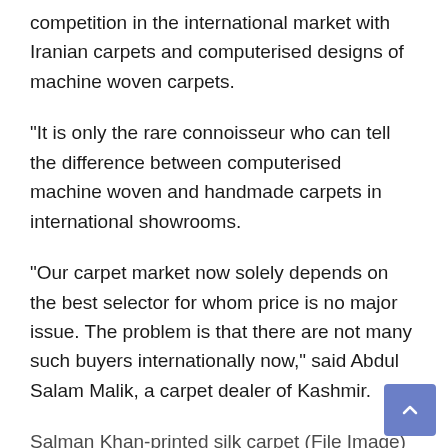competition in the international market with Iranian carpets and computerised designs of machine woven carpets.
“It is only the rare connoisseur who can tell the difference between computerised machine woven and handmade carpets in international showrooms.
“Our carpet market now solely depends on the best selector for whom price is no major issue. The problem is that there are not many such buyers internationally now,” said Abdul Salam Malik, a carpet dealer of Kashmir.
Salman Khan-printed silk carpet (File Image)
Hearing about the helping nature of Salman Khan and the stories about the trade...